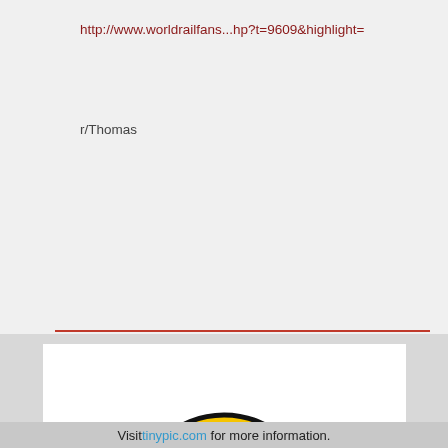http://www.worldrailfans...hp?t=9609&highlight=
r/Thomas
[Figure (illustration): Tinypic 'image no longer available' placeholder showing a sad yellow emoji face with orange headphone-like ears and blue body, above the 'tinypic' logo text in colorful lettering, followed by the text 'This image is no longer available.']
Visit tinypic.com for more information.